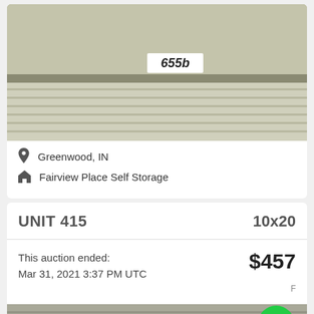[Figure (photo): Close-up photo of a storage unit roll-up door with a label reading '655b']
Greenwood, IN
Fairview Place Self Storage
UNIT 415
10x20
This auction ended:
Mar 31, 2021 3:37 PM UTC
$457
[Figure (photo): Partial photo of another storage unit at the bottom of the page]